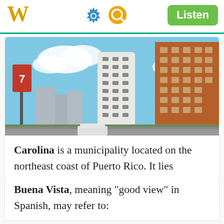W  [settings icon] [search icon]  Listen
[Figure (photo): Photograph of tall apartment/condominium buildings in Carolina, Puerto Rico, under a blue sky with clouds. A street lamp and banner are visible on the left.]
Carolina is a municipality located on the northeast coast of Puerto Rico. It lies immediately east of the capital San Juan and Trujillo
Buena Vista, meaning "good view" in Spanish, may refer to: